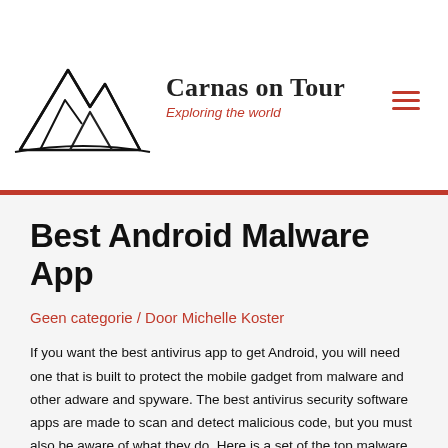Carnas on Tour — Exploring the world
Best Android Malware App
Geen categorie / Door Michelle Koster
If you want the best antivirus app to get Android, you will need one that is built to protect the mobile gadget from malware and other adware and spyware. The best antivirus security software apps are made to scan and detect malicious code, but you must also be aware of what they do. Here is a set of the top malware apps just for Android. You may choose a free antivirus software or use a few us dollars for the paid types. But if it is not necessary such features, try one of the following choices instead.